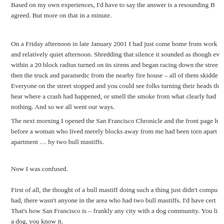Based on my own experiences, I'd have to say the answer is a resounding B... agreed. But more on that in a minute.
On a Friday afternoon in late January 2001 I had just come home from work and relatively quiet afternoon. Shredding that silence it sounded as though ev... within a 20 block radius turned on its sirens and began racing down the stree... then the truck and paramedic from the nearby fire house – all of them skidde... Everyone on the street stopped and you could see folks turning their heads th... hear where a crash had happened, or smell the smoke from what clearly had nothing. And so we all went our ways.
The next morning I opened the San Francisco Chronicle and the front page h... before a woman who lived merely blocks away from me had been torn apart... apartment … by two bull mastiffs.
Now I was confused.
First of all, the thought of a bull mastiff doing such a thing just didn't compu... had, there wasn't anyone in the area who had two bull mastiffs. I'd have cert... That's how San Francisco is – frankly any city with a dog community. You li... a dog, you know it.
...